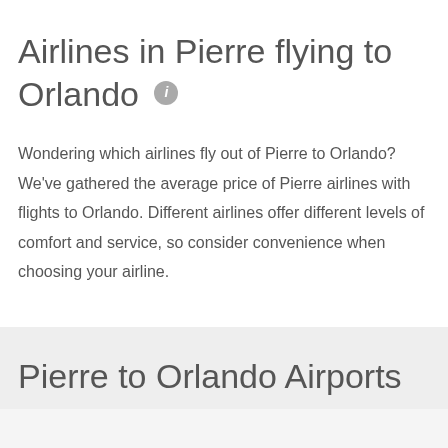Airlines in Pierre flying to Orlando
Wondering which airlines fly out of Pierre to Orlando? We've gathered the average price of Pierre airlines with flights to Orlando. Different airlines offer different levels of comfort and service, so consider convenience when choosing your airline.
Pierre to Orlando Airports